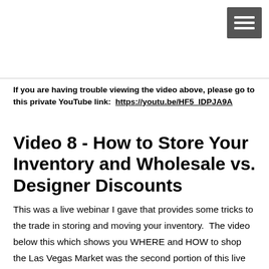[Figure (other): Hamburger menu icon (three horizontal white lines on dark grey background) in top right corner]
If you are having trouble viewing the video above, please go to this private YouTube link:  https://youtu.be/HF5_IDPJA9A
Video 8 - How to Store Your Inventory and Wholesale vs. Designer Discounts
This was a live webinar I gave that provides some tricks to the trade in storing and moving your inventory.  The video below this which shows you WHERE and HOW to shop the Las Vegas Market was the second portion of this live webinar...